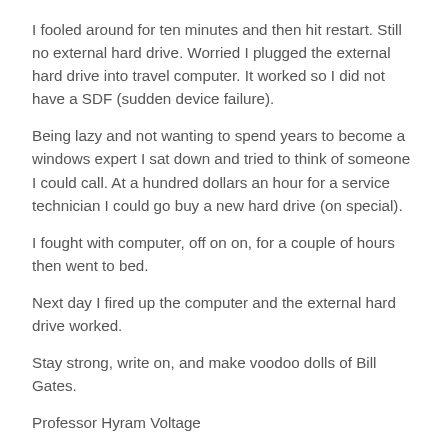I fooled around for ten minutes and then hit restart. Still no external hard drive. Worried I plugged the external hard drive into travel computer. It worked so I did not have a SDF (sudden device failure).
Being lazy and not wanting to spend years to become a windows expert I sat down and tried to think of someone I could call. At a hundred dollars an hour for a service technician I could go buy a new hard drive (on special).
I fought with computer, off on on, for a couple of hours then went to bed.
Next day I fired up the computer and the external hard drive worked.
Stay strong, write on, and make voodoo dolls of Bill Gates.
Professor Hyram Voltage
Tags: Microsoft, rant, Update
Share this entry